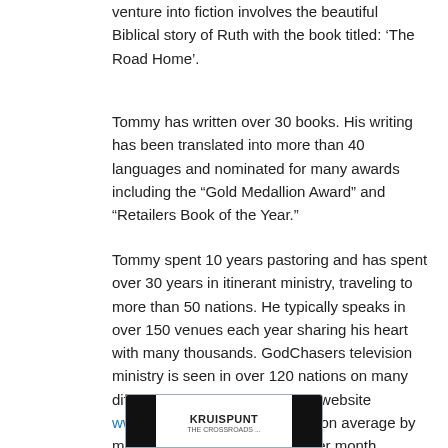venture into fiction involves the beautiful Biblical story of Ruth with the book titled: ‘The Road Home’.
Tommy has written over 30 books. His writing has been translated into more than 40 languages and nominated for many awards including the “Gold Medallion Award” and “Retailers Book of the Year.”
Tommy spent 10 years pastoring and has spent over 30 years in itinerant ministry, traveling to more than 50 nations. He typically speaks in over 150 venues each year sharing his heart with many thousands. GodChasers television ministry is seen in over 120 nations on many different networks. His ministry website www.godchasers.net is viewed on average by more than one million people per month.
[Figure (screenshot): Screenshot of a website showing KRUISPUNT branding with black side panels]